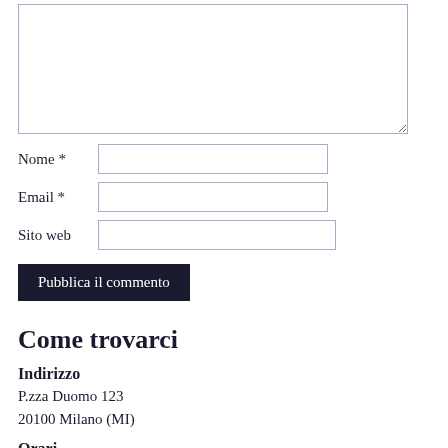[Figure (other): Textarea form field with light purple border]
Nome *
[Figure (other): Text input field for Nome with light purple border]
Email *
[Figure (other): Text input field for Email with light purple border]
Sito web
[Figure (other): Text input field for Sito web with light purple border]
Pubblica il commento
Come trovarci
Indirizzo
P.zza Duomo 123
20100 Milano (MI)
Orari
lunedì—venerdì: 9:00–17:00
sabato e domenica: 11:00–15:00